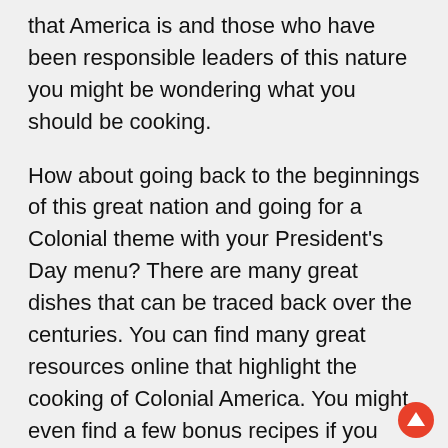that America is and those who have been responsible leaders of this nature you might be wondering what you should be cooking.
How about going back to the beginnings of this great nation and going for a Colonial theme with your President's Day menu? There are many great dishes that can be traced back over the centuries. You can find many great resources online that highlight the cooking of Colonial America. You might even find a few bonus recipes if you browse websites about Williamsburg, VA or other cities that were of import during the colonial days and those years when we were a fledgling nation.
If you search carefully you can find many resources that may give you even more ideas about cooking and serving colonial style feast fit for a President's Day celebration. You